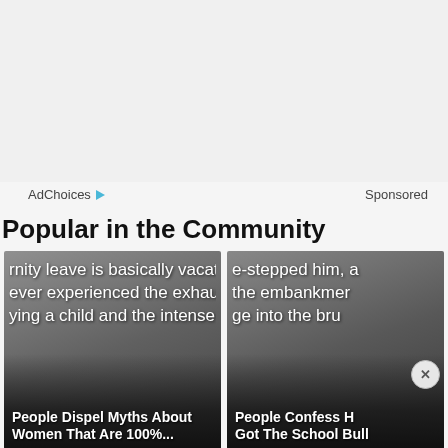[Figure (screenshot): Ad banner area, light gray background]
AdChoices ▷   Sponsored
Popular in the Community
[Figure (screenshot): Article card: text overlay reading 'rnity leave is basically vacati' / 'ever experienced the exhaus' / 'ying a child and the intense b' / 'natu...' with title 'People Dispel Myths About Women That Are 100%...']
[Figure (screenshot): Article card: text overlay reading 'e-stepped him, a' / 'the embankmen' / 'ge into the bru' with title 'People Confess How Got The School Bull...']